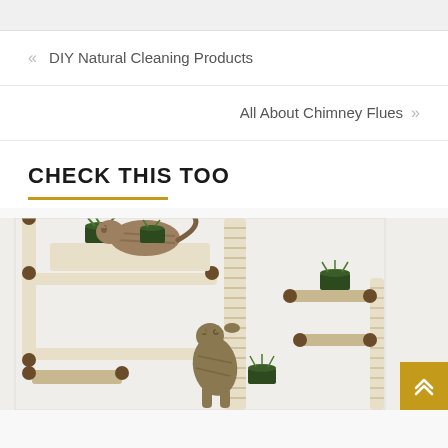« DIY Natural Cleaning Products
All About Chimney Flues »
CHECK THIS TOO
[Figure (photo): Two cats on a wall-mounted cat climbing structure with rope posts, wooden shelves, and small planters with green plants on a white wall.]